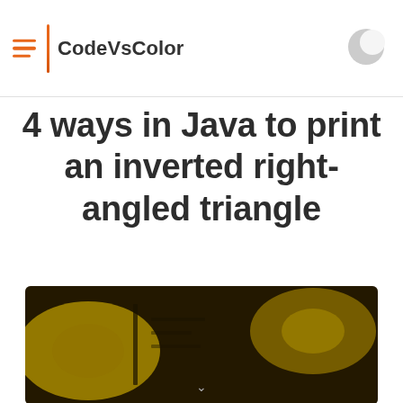CodeVsColor
4 ways in Java to print an inverted right-angled triangle
[Figure (photo): Blurred yellow and dark background image representing code/programming, used as a hero image for the article.]